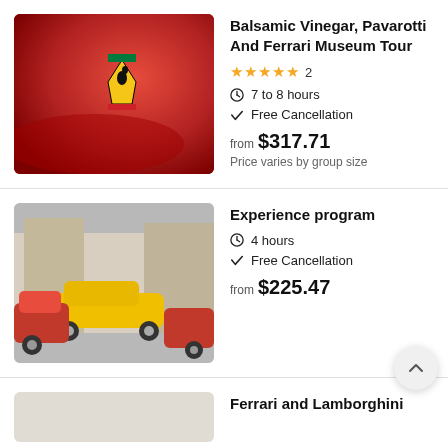[Figure (photo): Close-up of a red Ferrari car with the Ferrari prancing horse logo badge visible on the body panel]
Balsamic Vinegar, Pavarotti And Ferrari Museum Tour
★★★★★ 2
7 to 8 hours
Free Cancellation
from $317.71
Price varies by group size
[Figure (photo): Multiple Ferrari sports cars lined up on a street, including red and yellow models]
Experience program
4 hours
Free Cancellation
from $225.47
[Figure (photo): Partially visible third listing image (light grey/beige)]
Ferrari and Lamborghini